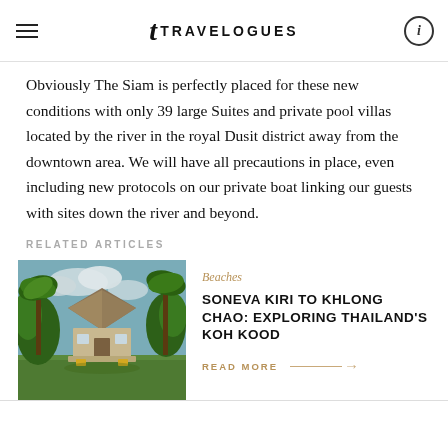TRAVELOGUES
Obviously The Siam is perfectly placed for these new conditions with only 39 large Suites and private pool villas located by the river in the royal Dusit district away from the downtown area. We will have all precautions in place, even including new protocols on our private boat linking our guests with sites down the river and beyond.
RELATED ARTICLES
[Figure (photo): Tropical resort bungalow with thatched roof surrounded by palm trees and lush greenery]
Beaches
SONEVA KIRI TO KHLONG CHAO: EXPLORING THAILAND'S KOH KOOD
READ MORE